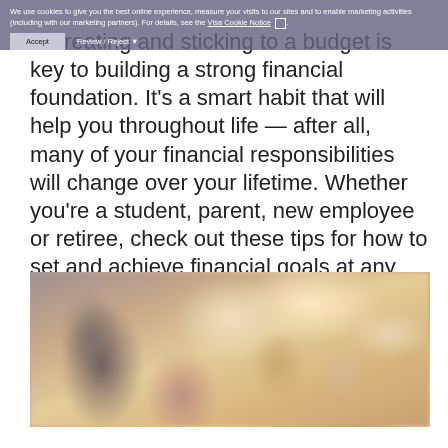We use cookies to give you the best online experience, measure your visits to our sites and to enable marketing activities (including with our marketing partners). For details, see the Visa Cookie Notice.
Creating and sticking to a budget is key to building a strong financial foundation. It's a smart habit that will help you throughout life — after all, many of your financial responsibilities will change over your lifetime. Whether you're a student, parent, new employee or retiree, check out these tips for how to set and achieve financial goals at any stage of life.
[Figure (photo): Blurred photo of a person sitting at a table with a coffee mug, warm tones, suggests financial planning or studying]